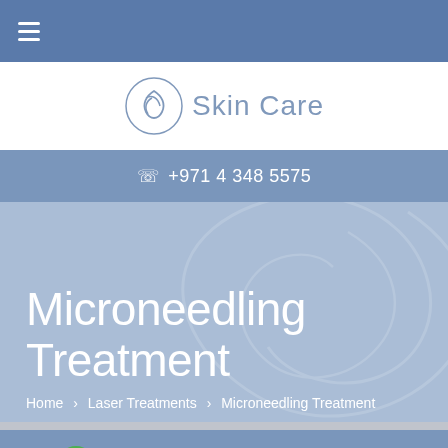☰ (hamburger menu)
[Figure (logo): Skin Care clinic logo with stylized figure and text 'Skin Care']
☏ +971 4 348 5575
Microneedling Treatment
Home > Laser Treatments > Microneedling Treatment
Whatsapp  Consultation  Chat